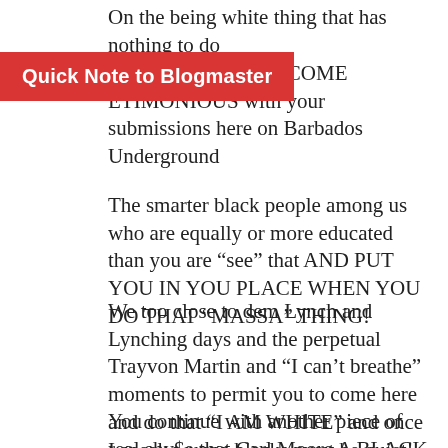On the being white thing that has nothing to do with e Halsall AND YOU COME ETIMONIOUS with your submissions here on Barbados Underground
Quick Note to Blogmaster
The smarter black people among us who are equally or more educated than you are "see" that AND PUT YOU IN YOU PLACE WHEN YOU DO THAT "MASSA" THING!
We too close to dem Lynch and Lynching days and the perpetual Trayvon Martin and "I can't breathe" moments to permit you to come here and do that "I AM WHITE" and once I speak wunna blacks must be quiet!
You continue with another piece of real shy$e that Carl Moore A BLACK MAN CAME HERE and exhausted ad nauseam UNSUCCESSFULLY!